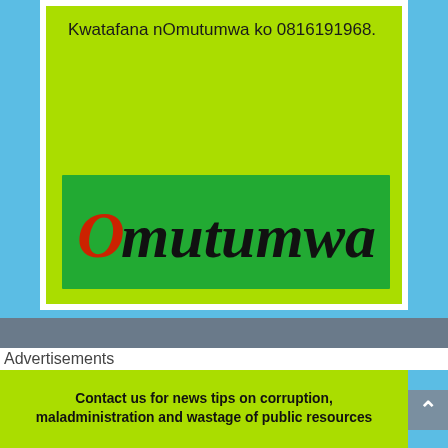Kwatafana nOmutumwa ko 0816191968.
[Figure (logo): Omutumwa newspaper logo on green background, with stylized italic text 'Omutumwa' where the O is in red]
Advertisements
Contact us for news tips on corruption, maladministration and wastage of public resources in Omusati, Oshana, Ohangwena and Oshikoto +264816191968 email: victorangula@yahoo.com
[Figure (logo): Partial Omutumwa logo at bottom of page]